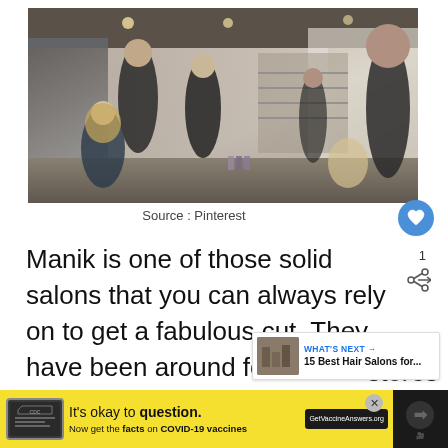[Figure (photo): Interior of a hair salon showing stylists working on clients' hair. Multiple people visible including stylists in black outfits and clients seated. Salon has mirrored walls, a staircase, and product displays.]
Source : Pinterest
Manik is one of those solid salons that you can always rely on to get a fabulous cut. They have been around for more than te... and it was first set-up by an Australian who m...stores
[Figure (infographic): WHAT'S NEXT arrow label with thumbnail image and text '15 Best Hair Salons for...']
[Figure (infographic): Yellow advertisement bar: 'It's okay to question. Now get the facts on COVID-19 vaccines. GetVaccineAnswers.org']